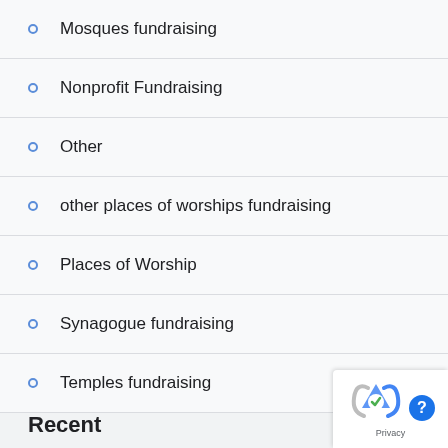Mosques fundraising
Nonprofit Fundraising
Other
other places of worships fundraising
Places of Worship
Synagogue fundraising
Temples fundraising
Recent
[Figure (logo): reCAPTCHA widget with Privacy icon]